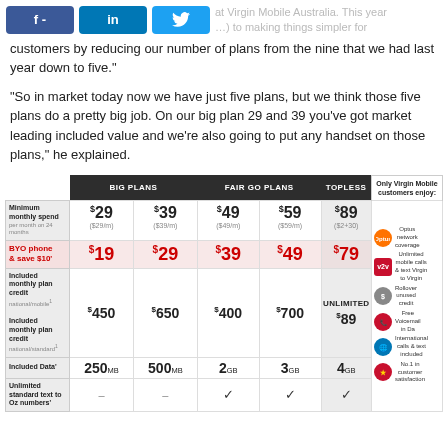[Figure (screenshot): Social media share buttons: Facebook (f), LinkedIn (in), Twitter bird icon, followed by partial headline text about Virgin Mobile Australia]
customers by reducing our number of plans from the nine that we had last year down to five."
"So in market today now we have just five plans, but we think those five plans do a pretty big job. On our big plan 29 and 39 you've got market leading included value and we're also going to put any handset on those plans," he explained.
|  | BIG PLANS |  | FAIR GO PLANS |  | TOPLESS | Only Virgin Mobile customers enjoy: |
| --- | --- | --- | --- | --- | --- | --- |
| Minimum monthly spend | $29 | $39 | $49 | $59 | $89 | Optus network coverage |
| BYO phone & save $10' | $19 | $29 | $39 | $49 | $79 | Unlimited mobile calls & text Virgin to Virgin |
| Included monthly plan credit (national/mobile) | $450 | $650 | $400 | $700 | UNLIMITED / $89 | Rollover unused credit |
| Included Data' | 250MB | 500MB | 2GB | 3GB | 4GB | Free Voicemail in Da |
| Unlimited standard text to Oz numbers' | – | – | ✓ | ✓ | ✓ | International calls & text included / No.1 in customer satisfaction |